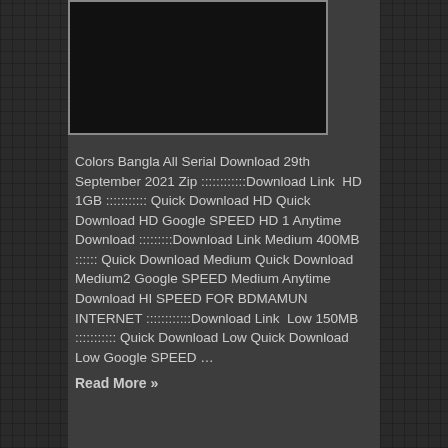[Figure (screenshot): Black image/video placeholder box with white border]
Colors Bangla All Serial Download 29th September 2021 Zip ::::::::::::Download Link  HD 1GB ::::::::::: Quick Download HD Quick Download HD Google SPEED HD 1 Anytime Download :::::::::Download Link Medium 400MB :::::: Quick Download Medium Quick Download Medium2 Google SPEED Medium Anytime Download HI SPEED FOR BDMAMUN INTERNET ::::::::::::Download Link  Low 150MB ::::::::::: Quick Download Low Quick Download Low Google SPEED …
Read More »